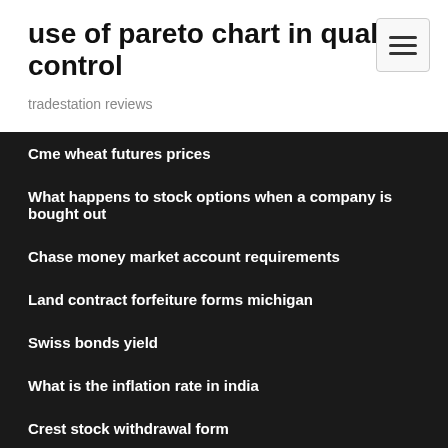use of pareto chart in quality control
tradestation reviews
Cme wheat futures prices
What happens to stock options when a company is bought out
Chase money market account requirements
Land contract forfeiture forms michigan
Swiss bonds yield
What is the inflation rate in india
Crest stock withdrawal form
Corruption perceptions index vietnam
Online stock brokerage comparison